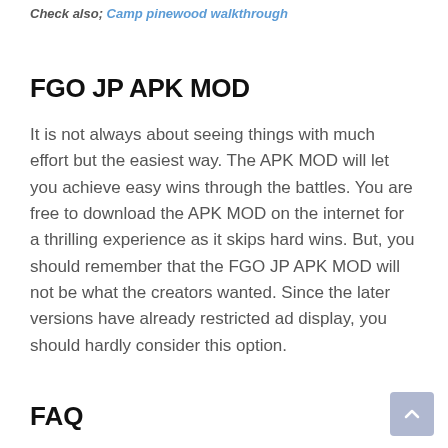Check also; Camp pinewood walkthrough
FGO JP APK MOD
It is not always about seeing things with much effort but the easiest way. The APK MOD will let you achieve easy wins through the battles. You are free to download the APK MOD on the internet for a thrilling experience as it skips hard wins. But, you should remember that the FGO JP APK MOD will not be what the creators wanted. Since the later versions have already restricted ad display, you should hardly consider this option.
FAQ